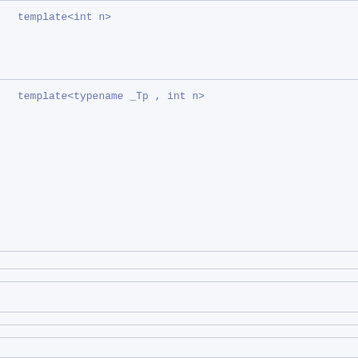template<int n>
template<typename _Tp , int n>